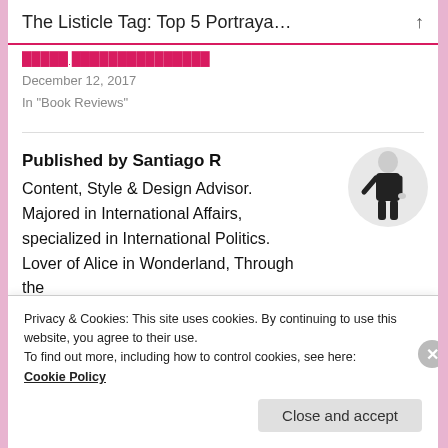The Listicle Tag: Top 5 Portraya… ↑
December 12, 2017
In "Book Reviews"
Published by Santiago R
Content, Style & Design Advisor. Majored in International Affairs, specialized in International Politics. Lover of Alice in Wonderland, Through the
Privacy & Cookies: This site uses cookies. By continuing to use this website, you agree to their use.
To find out more, including how to control cookies, see here:
Cookie Policy
Close and accept